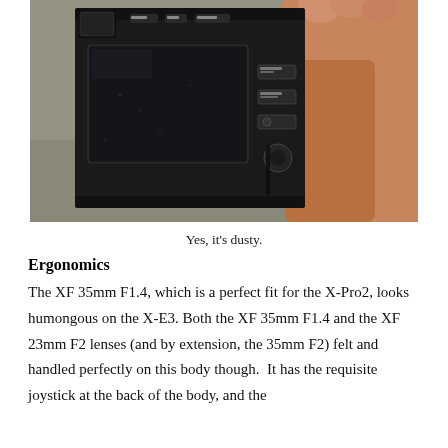[Figure (photo): Photo of the back of a Fujifilm X-E3 mirrorless camera being held in a person's right hand against a blurred background. The camera back shows a dark LCD screen, viewfinder, and several buttons/controls. The image is described as dusty.]
Yes, it's dusty.
Ergonomics
The XF 35mm F1.4, which is a perfect fit for the X-Pro2, looks humongous on the X-E3. Both the XF 35mm F1.4 and the XF 23mm F2 lenses (and by extension, the 35mm F2) felt and handled perfectly on this body though.  It has the requisite joystick at the back of the body, and the